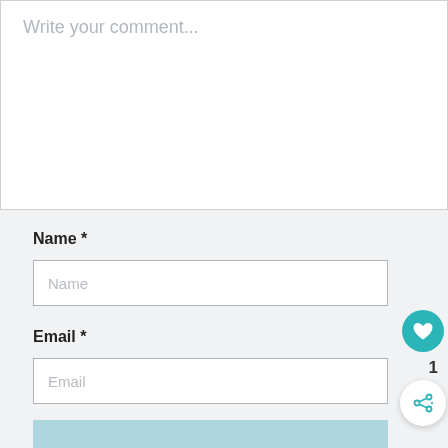Write your comment...
Name *
Name
Email *
Email
1